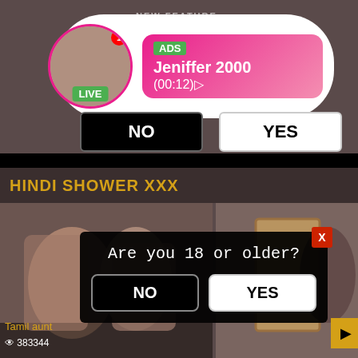[Figure (screenshot): Live stream ad notification with avatar, ADS label, name Jeniffer 2000, time (00:12), LIVE badge]
ADS
Jeniffer 2000
(00:12)
NO
YES
HINDI SHOWER XXX
[Figure (screenshot): Video thumbnail - Tamil aunt shower scene]
[Figure (screenshot): Video thumbnail - right side clip]
Tamil aunt
👁 383344
Are you 18 or older?
NO
YES